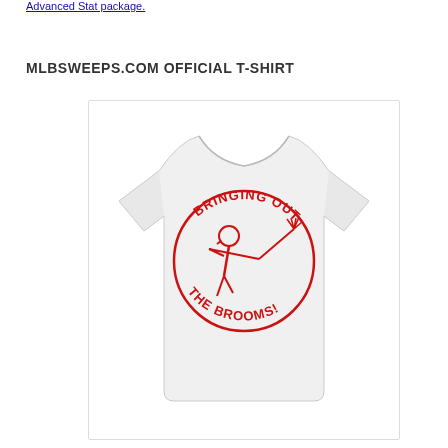Advanced Stat package.
MLBSWEEPS.COM OFFICIAL T-SHIRT
[Figure (photo): White t-shirt with red circular logo reading 'BRINGING OUT THE BROOMS!' with a baseball player swinging a broom]